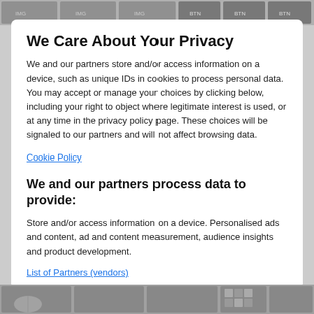[Figure (screenshot): Top browser/website banner strip with thumbnail images and navigation UI]
We Care About Your Privacy
We and our partners store and/or access information on a device, such as unique IDs in cookies to process personal data. You may accept or manage your choices by clicking below, including your right to object where legitimate interest is used, or at any time in the privacy policy page. These choices will be signaled to our partners and will not affect browsing data.
Cookie Policy
We and our partners process data to provide:
Store and/or access information on a device. Personalised ads and content, ad and content measurement, audience insights and product development.
List of Partners (vendors)
[Figure (screenshot): Bottom strip showing website thumbnails and content images]